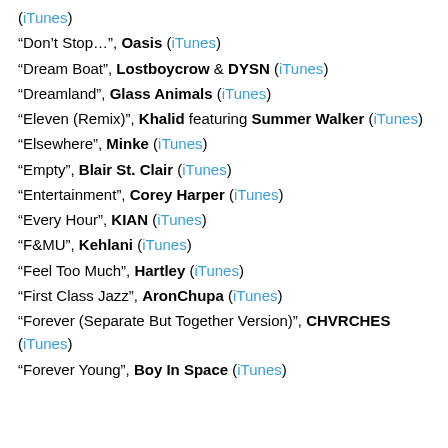(iTunes)
“Don’t Stop…”, Oasis (iTunes)
“Dream Boat”, Lostboycrow & DYSN (iTunes)
“Dreamland”, Glass Animals (iTunes)
“Eleven (Remix)”, Khalid featuring Summer Walker (iTunes)
“Elsewhere”, Minke (iTunes)
“Empty”, Blair St. Clair (iTunes)
“Entertainment”, Corey Harper (iTunes)
“Every Hour”, KIAN (iTunes)
“F&MU”, Kehlani (iTunes)
“Feel Too Much”, Hartley (iTunes)
“First Class Jazz”, AronChupa (iTunes)
“Forever (Separate But Together Version)”, CHVRCHES (iTunes)
“Forever Young”, Boy In Space (iTunes)